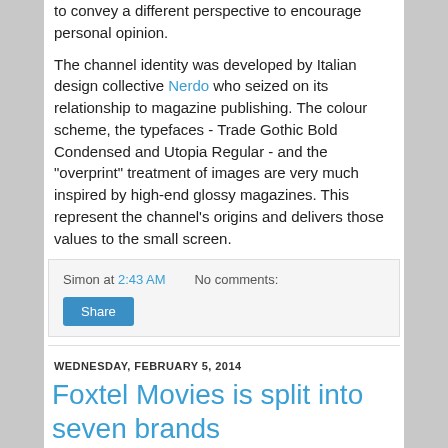to convey a different perspective to encourage personal opinion.
The channel identity was developed by Italian design collective Nerdo who seized on its relationship to magazine publishing. The colour scheme, the typefaces - Trade Gothic Bold Condensed and Utopia Regular - and the "overprint" treatment of images are very much inspired by high-end glossy magazines. This represent the channel's origins and delivers those values to the small screen.
Simon at 2:43 AM   No comments:
Share
WEDNESDAY, FEBRUARY 5, 2014
Foxtel Movies is split into seven brands